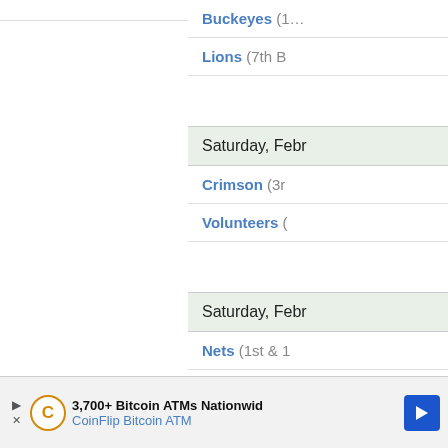Buckeyes (…
Lions (7th B…
Saturday, Febr…
Crimson (3r…
Volunteers (…
Saturday, Febr…
Nets (1st & 1…
Mavericks (1…
Saturday, Febr…
C… Close × 3c…
3,700+ Bitcoin ATMs Nationwid
CoinFlip Bitcoin ATM